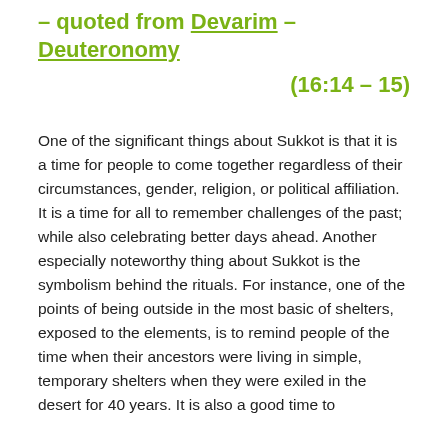– quoted from Devarim – Deuteronomy (16:14 – 15)
One of the significant things about Sukkot is that it is a time for people to come together regardless of their circumstances, gender, religion, or political affiliation. It is a time for all to remember challenges of the past; while also celebrating better days ahead. Another especially noteworthy thing about Sukkot is the symbolism behind the rituals. For instance, one of the points of being outside in the most basic of shelters, exposed to the elements, is to remind people of the time when their ancestors were living in simple, temporary shelters when they were exiled in the desert for 40 years. It is also a good time to